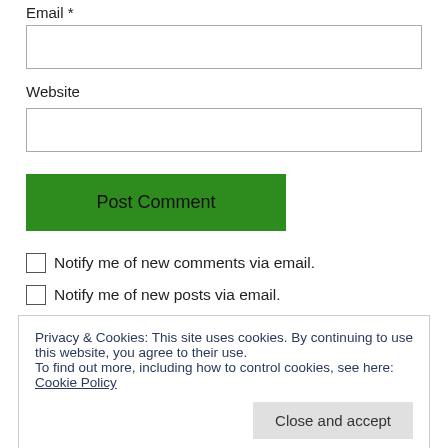Email *
Website
Post Comment
Notify me of new comments via email.
Notify me of new posts via email.
Privacy & Cookies: This site uses cookies. By continuing to use this website, you agree to their use.
To find out more, including how to control cookies, see here: Cookie Policy
Close and accept